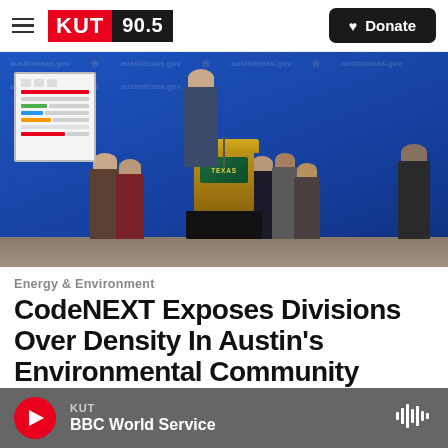KUT 90.5 | Donate
[Figure (photo): Press conference scene with a man speaking at a wooden podium labeled TEXAS, surrounded by a group of people standing in front of a blue Austin Texas government backdrop, with a presentation board visible on the left.]
Energy & Environment
CodeNEXT Exposes Divisions Over Density In Austin's Environmental Community
KUT  BBC World Service